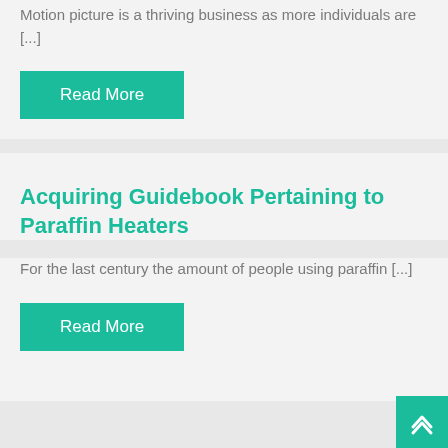Motion picture is a thriving business as more individuals are [...]
Read More
Acquiring Guidebook Pertaining to Paraffin Heaters
For the last century the amount of people using paraffin [...]
Read More